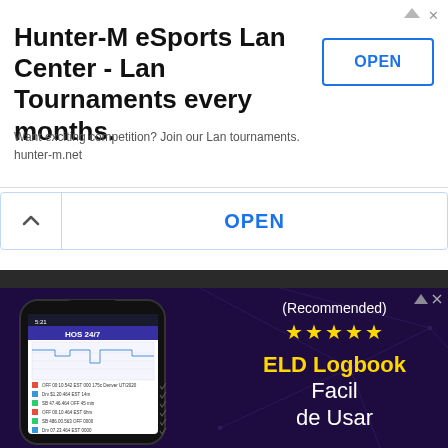Hunter-M eSports Lan Center - Lan Tournaments every months.
Want exciting competition? Join our Lan tournaments.
hunter-m.net
OPEN
OPEN
[Figure (screenshot): Mobile phone showing HOS 24/7 ELD logbook app with a driving log graph and trip data entries]
(Recommended)
★★★★★
ELD Logbook
Facil
de Usar